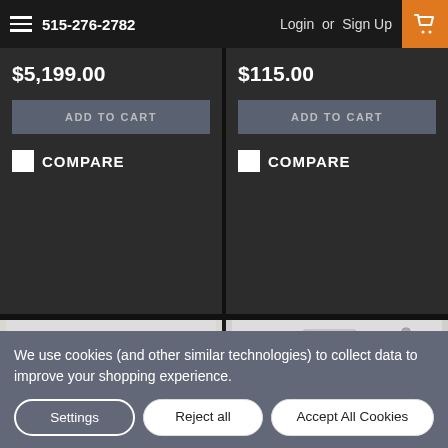515-276-2782  Login or Sign Up
$5,199.00
ADD TO CART
COMPARE
$115.00
ADD TO CART
COMPARE
[Figure (photo): White electric linear actuator mounted on a bracket with black wiring/connector]
[Figure (photo): White digital temperature controller/thermostat with display and probe sensor with cables]
We use cookies (and other similar technologies) to collect data to improve your shopping experience.
Settings
Reject all
Accept All Cookies